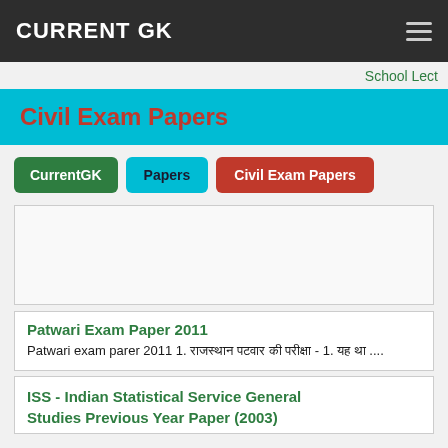CURRENT GK
School Lect
Civil Exam Papers
CurrentGK
Papers
Civil Exam Papers
[Figure (other): Advertisement placeholder box]
Patwari Exam Paper 2011
Patwari exam parer 2011 1. [Hindi text] – 1. [Hindi text] ....
ISS - Indian Statistical Service General Studies Previous Year Paper (2003)